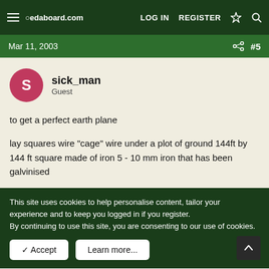edaboard.com | LOG IN | REGISTER
Mar 11, 2003 #5
sick_man
Guest
to get a perfect earth plane

lay squares wire "cage" wire under a plot of ground 144ft by 144 ft square made of iron 5 - 10 mm iron that has been galvinised
This site uses cookies to help personalise content, tailor your experience and to keep you logged in if you register.
By continuing to use this site, you are consenting to our use of cookies.